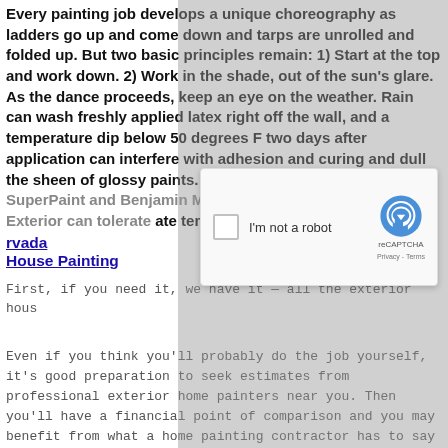Every painting job develops a unique choreography as ladders go up and come down and tarps are unrolled and folded up. But two basic principles remain: 1) Start at the top and work down. 2) Work in the shade, out of the sun's glare. As the dance proceeds, keep an eye on the weather. Rain can wash freshly applied latex right off the wall, and a temperature dip below 50 degrees F two days after application can interfere with adhesion and curing and dull the sheen of glossy paints. (Latexes like Sherwin-Williams SuperPaint and Benjamin Moore's MoorGard Low Lustre Exterior can tolerate temps as low as 35...
Nevada House Painting
First, if you need it, we have it — all the exterior hous...
Even if you think you'll probably do the job yourself, it's good preparation to seek estimates from professional exterior home painters near you. Then you'll have a financial point of comparison and you may benefit from what a home painting contractor has to say about the condition of your home, color choices and types of paint available. Let the painter make his pitch for a professional job before you decide what to do. You can still opt to do it yourself while having
[Figure (other): reCAPTCHA widget overlay showing a checkbox with 'I'm not a robot' label, reCAPTCHA logo, and Privacy-Terms links]